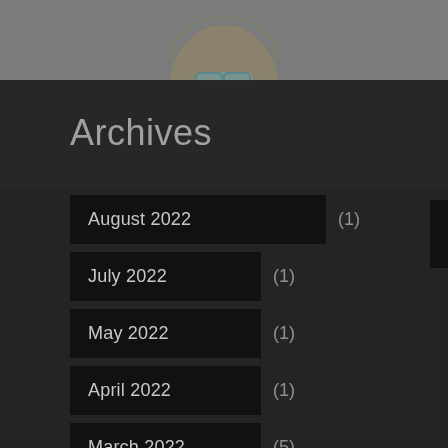[Figure (photo): Person wearing safety goggles and a head-mounted device, in a lab or medical setting, gray background]
Archives
August 2022 (1)
July 2022 (1)
May 2022 (1)
April 2022 (1)
March 2022 (5)
January 2022 (4)